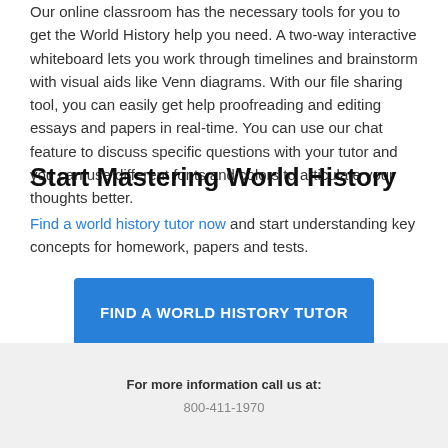Our online classroom has the necessary tools for you to get the World History help you need. A two-way interactive whiteboard lets you work through timelines and brainstorm with visual aids like Venn diagrams. With our file sharing tool, you can easily get help proofreading and editing essays and papers in real-time. You can use our chat feature to discuss specific questions with your tutor and you can use different fonts and colors to articulate your thoughts better.
Start Mastering World History
Find a world history tutor now and start understanding key concepts for homework, papers and tests.
FIND A WORLD HISTORY TUTOR
For more information call us at: 800-411-1970